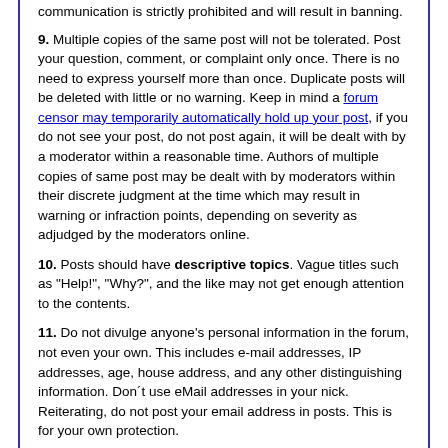communication is strictly prohibited and will result in banning.
9. Multiple copies of the same post will not be tolerated. Post your question, comment, or complaint only once. There is no need to express yourself more than once. Duplicate posts will be deleted with little or no warning. Keep in mind a forum censor may temporarily automatically hold up your post, if you do not see your post, do not post again, it will be dealt with by a moderator within a reasonable time. Authors of multiple copies of same post may be dealt with by moderators within their discrete judgment at the time which may result in warning or infraction points, depending on severity as adjudged by the moderators online.
10. Posts should have descriptive topics. Vague titles such as "Help!", "Why?", and the like may not get enough attention to the contents.
11. Do not divulge anyone's personal information in the forum, not even your own. This includes e-mail addresses, IP addresses, age, house address, and any other distinguishing information. Don´t use eMail addresses in your nick. Reiterating, do not post your email address in posts. This is for your own protection.
12. Signatures may be used as long as they are not offensive or sexually explicit or used for commercial advertising. Commercial weblinks cannot be used under any circumstances and will result in an immediate ban.